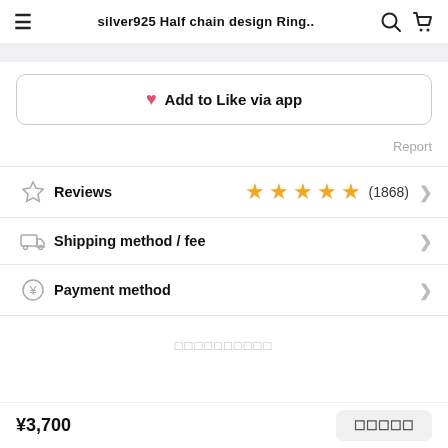silver925 Half chain design Ring..
Add to Like via app
Report
Reviews (1868)
Shipping method / fee
Payment method
□□□□□□□□□□
¥3,700